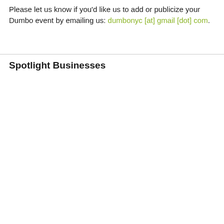Please let us know if you'd like us to add or publicize your Dumbo event by emailing us: dumbonyc [at] gmail [dot] com.
Spotlight Businesses